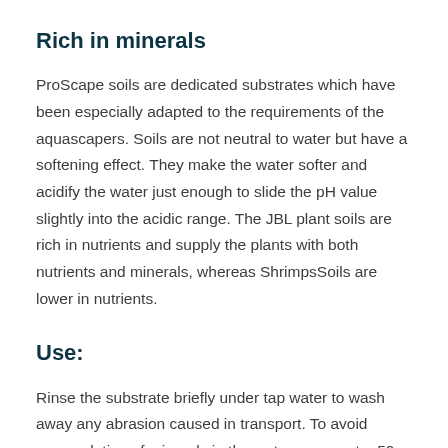Rich in minerals
ProScape soils are dedicated substrates which have been especially adapted to the requirements of the aquascapers. Soils are not neutral to water but have a softening effect. They make the water softer and acidify the water just enough to slide the pH value slightly into the acidic range. The JBL plant soils are rich in nutrients and supply the plants with both nutrients and minerals, whereas ShrimpsSoils are lower in nutrients.
Use:
Rinse the substrate briefly under tap water to wash away any abrasion caused in transport. To avoid accumulation of minerals in the water, carry out a 50 % water change every 2 to 3 days in the first two weeks after filling. The softening effect decreases in the course of time because the